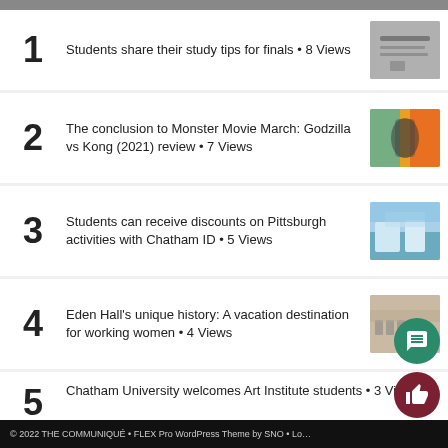1 Students share their study tips for finals • 8 Views
2 The conclusion to Monster Movie March: Godzilla vs Kong (2021) review • 7 Views
3 Students can receive discounts on Pittsburgh activities with Chatham ID • 5 Views
4 Eden Hall's unique history: A vacation destination for working women • 4 Views
5 Chatham University welcomes Art Institute students • 3 Views
© 2022 THE COMMUNIQUÉ • FLEX Pro WordPress Theme by SNO • Lo…